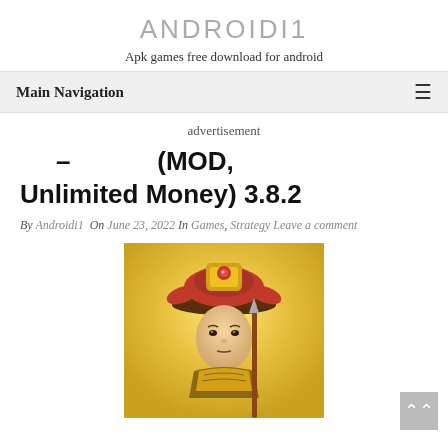ANDROIDI1
Apk games free download for android
Main Navigation
advertisement
– (MOD, Unlimited Money) 3.8.2
By Androidi1 On June 23, 2022 In Games, Strategy Leave a comment
[Figure (illustration): Game character illustration: a young warrior wearing an ornate golden and red Chinese imperial hat with red feathers, holding a weapon, with a warm golden background.]